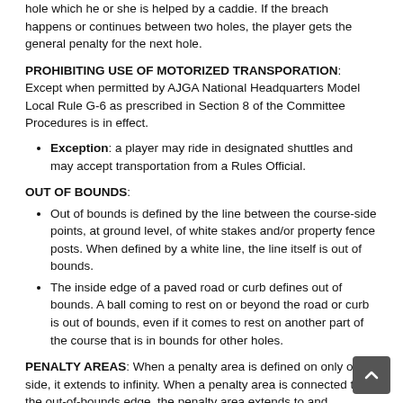hole which he or she is helped by a caddie. If the breach happens or continues between two holes, the player gets the general penalty for the next hole.
PROHIBITING USE OF MOTORIZED TRANSPORATION: Except when permitted by AJGA National Headquarters Model Local Rule G-6 as prescribed in Section 8 of the Committee Procedures is in effect.
Exception: a player may ride in designated shuttles and may accept transportation from a Rules Official.
OUT OF BOUNDS:
Out of bounds is defined by the line between the course-side points, at ground level, of white stakes and/or property fence posts. When defined by a white line, the line itself is out of bounds.
The inside edge of a paved road or curb defines out of bounds. A ball coming to rest on or beyond the road or curb is out of bounds, even if it comes to rest on another part of the course that is in bounds for other holes.
PENALTY AREAS: When a penalty area is defined on only one side, it extends to infinity. When a penalty area is connected to the out-of-bounds edge, the penalty area extends to and coincides with out of